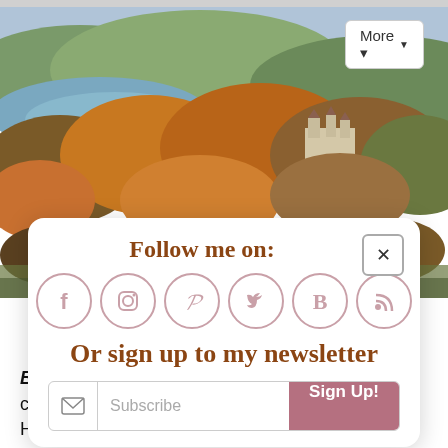[Figure (photo): Aerial autumn landscape photo showing forested hills, a lake, and a castle on a cliff surrounded by fall foliage]
Follow me on:
[Figure (infographic): Six social media icons in circular outlines: Facebook (f), Instagram (camera), Pinterest (P), Twitter (bird), BlogLovin (B), RSS feed]
Or sign up to my newsletter
Subscribe / Sign Up!
Brother to Neuschwanstein. This fairy tale-like castle is built into the cliff, just above the town of Honau.